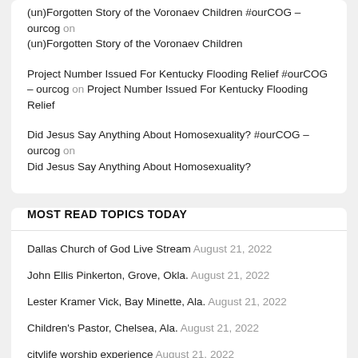(un)Forgotten Story of the Voronaev Children #ourCOG – ourcog on (un)Forgotten Story of the Voronaev Children
Project Number Issued For Kentucky Flooding Relief #ourCOG – ourcog on Project Number Issued For Kentucky Flooding Relief
Did Jesus Say Anything About Homosexuality? #ourCOG – ourcog on Did Jesus Say Anything About Homosexuality?
MOST READ TOPICS TODAY
Dallas Church of God Live Stream August 21, 2022
John Ellis Pinkerton, Grove, Okla. August 21, 2022
Lester Kramer Vick, Bay Minette, Ala. August 21, 2022
Children's Pastor, Chelsea, Ala. August 21, 2022
citylife worship experience August 21, 2022